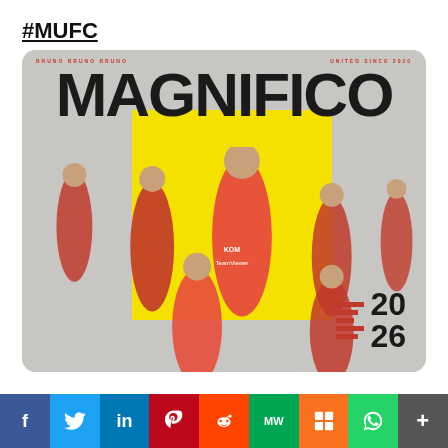#MUFC
[Figure (illustration): Manchester United Bruno Fernandes 'MAGNIFICO' promotional poster showing multiple action poses of player in red kit on grey/yellow background with '20 26' contract renewal graphic in bottom right]
f [Facebook] | Twitter | in [LinkedIn] | P [Pinterest] | Reddit | MW | Mix | WhatsApp | More